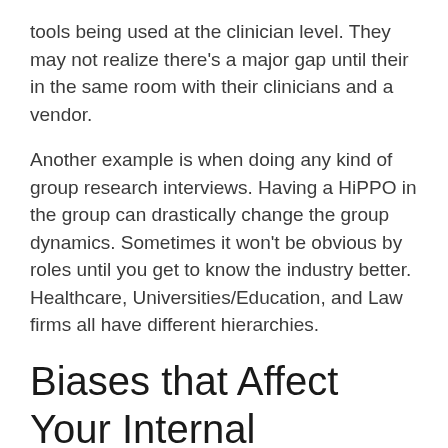tools being used at the clinician level. They may not realize there's a major gap until their in the same room with their clinicians and a vendor.
Another example is when doing any kind of group research interviews. Having a HiPPO in the group can drastically change the group dynamics. Sometimes it won't be obvious by roles until you get to know the industry better. Healthcare, Universities/Education, and Law firms all have different hierarchies.
Biases that Affect Your Internal Stakeholders of the Service Blueprint
Recollection Bias: Participan...